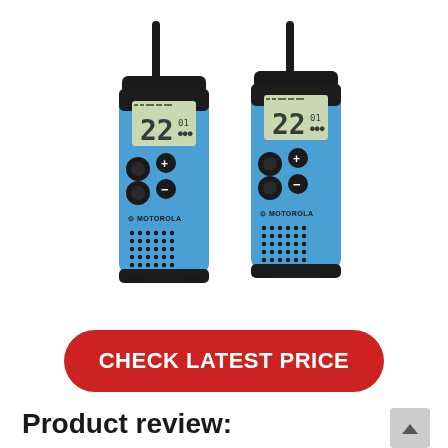[Figure (photo): Two Motorola blue and black walkie-talkie radios (T100 series) side by side, showing LCD displays reading '22', control buttons, speaker grilles, and antennas.]
CHECK LATEST PRICE
Product review: